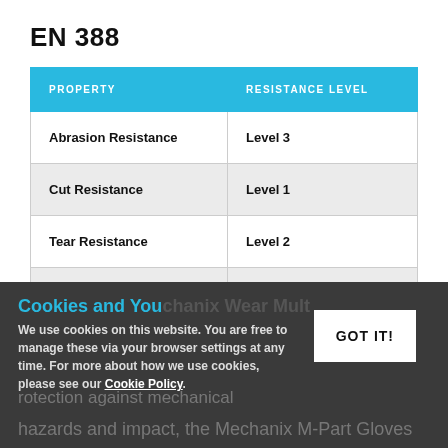EN 388
| PROPERTY | RESISTANCE LEVEL |
| --- | --- |
| Abrasion Resistance | Level 3 |
| Cut Resistance | Level 1 |
| Tear Resistance | Level 2 |
| Puncture Resistance | Level 1 |
Cookies and You
We use cookies on this website. You are free to manage these via your browser settings at any time. For more about how we use cookies, please see our Cookie Policy.
protection against mechanical hazards and impact, the Mechanix M-Part Gloves...